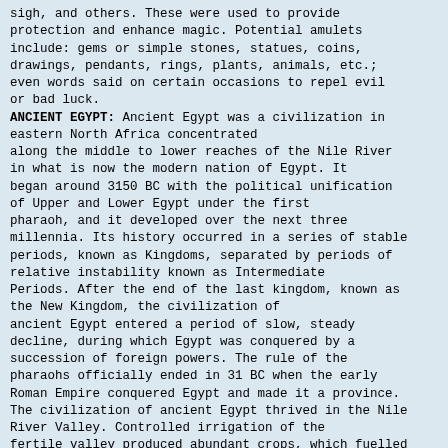sigh, and others. These were used to provide protection and enhance magic. Potential amulets include: gems or simple stones, statues, coins, drawings, pendants, rings, plants, animals, etc.; even words said on certain occasions to repel evil or bad luck.
ANCIENT EGYPT: Ancient Egypt was a civilization in eastern North Africa concentrated along the middle to lower reaches of the Nile River in what is now the modern nation of Egypt. It began around 3150 BC with the political unification of Upper and Lower Egypt under the first pharaoh, and it developed over the next three millennia. Its history occurred in a series of stable periods, known as Kingdoms, separated by periods of relative instability known as Intermediate Periods. After the end of the last kingdom, known as the New Kingdom, the civilization of ancient Egypt entered a period of slow, steady decline, during which Egypt was conquered by a succession of foreign powers. The rule of the pharaohs officially ended in 31 BC when the early Roman Empire conquered Egypt and made it a province. The civilization of ancient Egypt thrived in the Nile River Valley. Controlled irrigation of the fertile valley produced abundant crops, which fuelled social development and culture. With resources to spare, the administration sponsored mineral exploitation of the valley and surrounding desert regions, the early development of an independent writing system, the organization of collective construction and agricultural projects, trade with surrounding